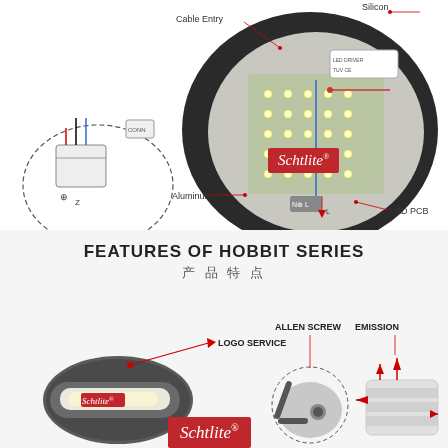[Figure (engineering-diagram): Exploded/cutaway view of a round LED ceiling light showing internal components: Cable Entry, Silicon, Aluminum, LED PCB, L/N terminal. Inset shows wiring diagram. Schtlite logo badge visible.]
FEATURES OF HOBBIT SERIES
产品特点
[Figure (engineering-diagram): Product photos of Hobbit series LED wall light showing LOGO SERVICE callout, ALLEN SCREW detail with dashed circle, EMISSION detail with arrows, and Schtlite logo badge.]